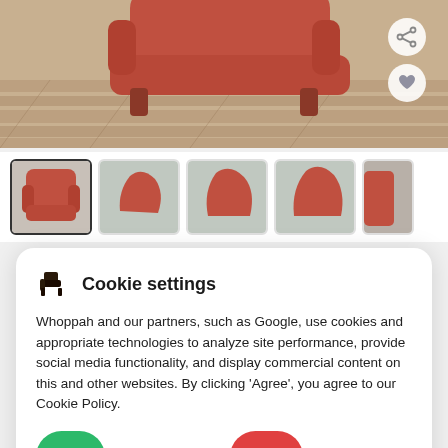[Figure (photo): Main product photo of a red leather armchair on a wooden floor, with share and heart icon buttons overlaid on the right side]
[Figure (photo): Row of 5 thumbnail images of the same red leather armchair from different angles]
Cookie settings
Whoppah and our partners, such as Google, use cookies and appropriate technologies to analyze site performance, provide social media functionality, and display commercial content on this and other websites. By clicking 'Agree', you agree to our Cookie Policy.
Accept
Decline